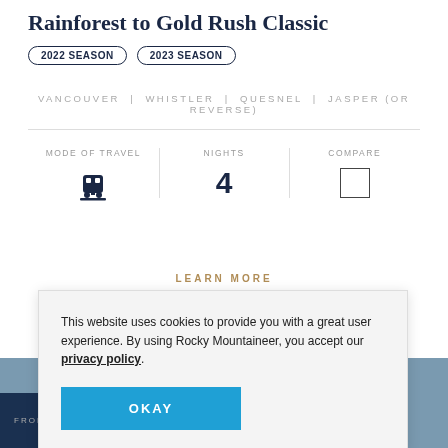Rainforest to Gold Rush Classic
2022 SEASON
2023 SEASON
VANCOUVER | WHISTLER | QUESNEL | JASPER (OR REVERSE)
| MODE OF TRAVEL | NIGHTS | COMPARE |
| --- | --- | --- |
| [train icon] | 4 | [checkbox] |
LEARN MORE
This website uses cookies to provide you with a great user experience. By using Rocky Mountaineer, you accept our privacy policy.
OKAY
FROM